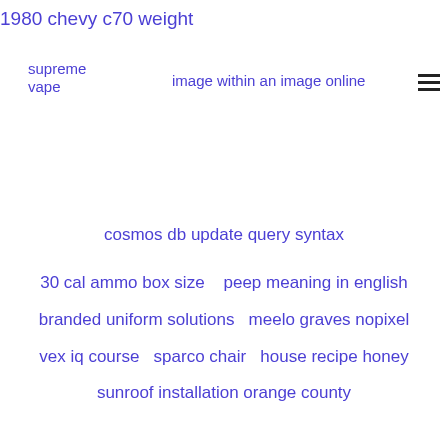1980 chevy c70 weight
supreme vape
image within an image online
cosmos db update query syntax
30 cal ammo box size
peep meaning in english
branded uniform solutions
meelo graves nopixel
vex iq course
sparco chair
house recipe honey
sunroof installation orange county